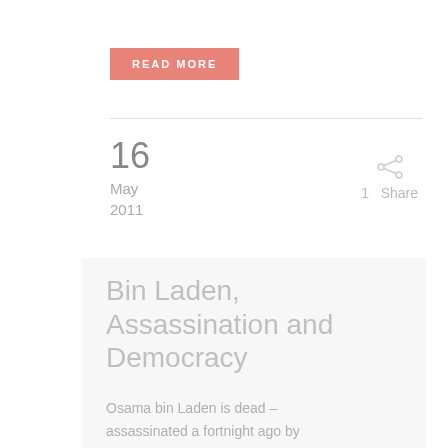READ MORE
16
May
2011
1  Share
Bin Laden, Assassination and Democracy
Osama bin Laden is dead – assassinated a fortnight ago by bullets sprayed from the guns...